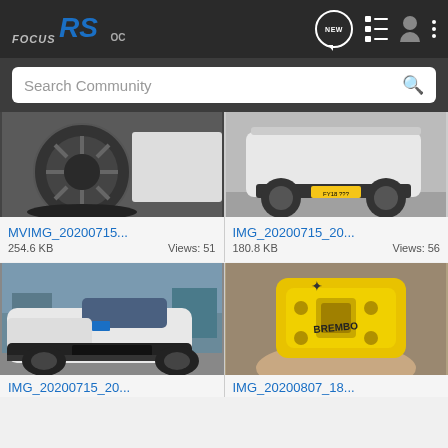FOCUS RS OC — NEW, list icon, user icon, menu icon
Search Community
[Figure (photo): Close-up of a dark alloy wheel on a white car]
MVIMG_20200715...
254.6 KB   Views: 51
[Figure (photo): Rear view of a white Ford Focus RS on a parking lot]
IMG_20200715_20...
180.8 KB   Views: 56
[Figure (photo): Front 3/4 view of a white Ford Focus RS in a car yard]
IMG_20200715_20...
[Figure (photo): Yellow brake caliper held in a hand]
IMG_20200807_18...